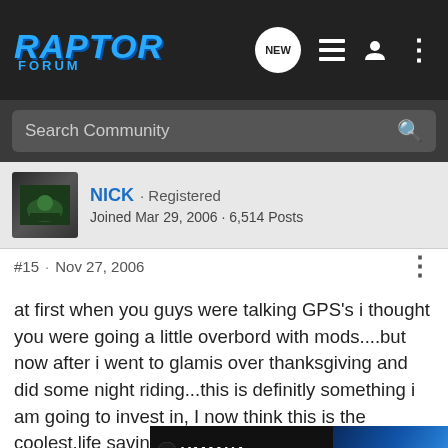Raptor Forum - navigation bar with logo, NEW button, list icon, user icon, more icon
Search Community
NICK · Registered
Joined Mar 29, 2006 · 6,514 Posts
#15 · Nov 27, 2006
at first when you guys were talking GPS's i thought you were going a little overbord with mods....but now after i went to glamis over thanksgiving and did some night riding...this is definitly something i am going to invest in, I now think this is the coolest,life saving mod you can get. i would like this and headset walkie talkies for all my group, things sure would be smooth with the 2 combined...but this alone is such a great investment, glad to hear all the info on mounts and models ....thank
[Figure (photo): Yamaha 2021 YFZ 450R advertisement banner with blue ATV and CLICK HERE button]